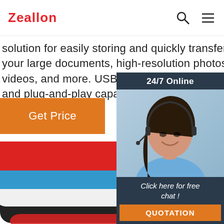Zeallon [search icon] [menu icon]
solution for easily storing and quickly transferring all your large documents, high-resolution photos, HD videos, and more. USB 3.0 offers the same ease-of-use and plug-and-play capabilities as
Get Price
[Figure (photo): Chat widget with '24/7 Online' header, photo of a smiling woman wearing a headset, 'Click here for free chat!' text, and an orange QUOTATION button]
[Figure (photo): Stacked USB flash drives in red, blue, white, and black colors with circular logos visible]